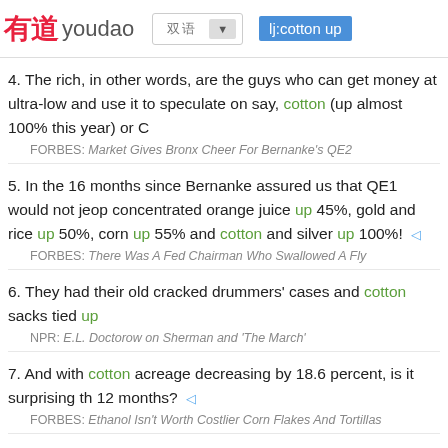有道 youdao | 双语 ▼ | lj:cotton up
4. The rich, in other words, are the guys who can get money at ultra-low and use it to speculate on say, cotton (up almost 100% this year) or C…
FORBES: Market Gives Bronx Cheer For Bernanke's QE2
5. In the 16 months since Bernanke assured us that QE1 would not jeop… concentrated orange juice up 45%, gold and rice up 50%, corn up 55%… and cotton and silver up 100%! ◁
FORBES: There Was A Fed Chairman Who Swallowed A Fly
6. They had their old cracked drummers' cases and cotton sacks tied up…
NPR: E.L. Doctorow on Sherman and 'The March'
7. And with cotton acreage decreasing by 18.6 percent, is it surprising th… 12 months? ◁
FORBES: Ethanol Isn't Worth Costlier Corn Flakes And Tortillas
8. Economists don't expect many of the cotton farmers who had abando…